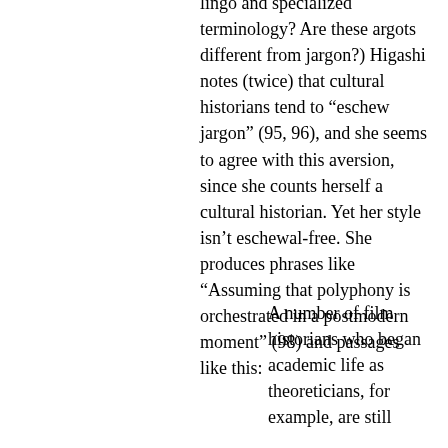lingo and specialized terminology? Are these argots different from jargon?) Higashi notes (twice) that cultural historians tend to “eschew jargon” (95, 96), and she seems to agree with this aversion, since she counts herself a cultural historian. Yet her style isn’t eschewal-free. She produces phrases like “Assuming that polyphony is orchestrated in a postmodern moment” (98) and passages like this:
A number of film historians who began academic life as theoreticians, for example, are still